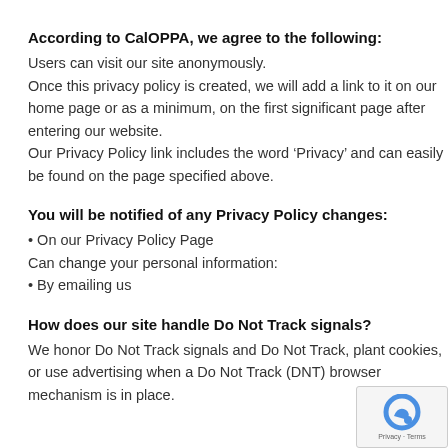According to CalOPPA, we agree to the following:
Users can visit our site anonymously.
Once this privacy policy is created, we will add a link to it on our home page or as a minimum, on the first significant page after entering our website.
Our Privacy Policy link includes the word ‘Privacy’ and can easily be found on the page specified above.
You will be notified of any Privacy Policy changes:
• On our Privacy Policy Page
Can change your personal information:
• By emailing us
How does our site handle Do Not Track signals?
We honor Do Not Track signals and Do Not Track, plant cookies, or use advertising when a Do Not Track (DNT) browser mechanism is in place.
[Figure (logo): reCAPTCHA badge with Privacy and Terms links]